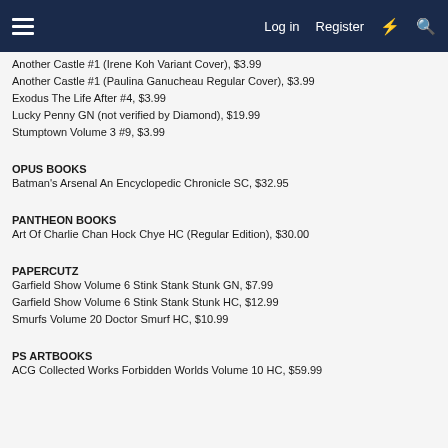Log in  Register
Another Castle #1 (Irene Koh Variant Cover), $3.99
Another Castle #1 (Paulina Ganucheau Regular Cover), $3.99
Exodus The Life After #4, $3.99
Lucky Penny GN (not verified by Diamond), $19.99
Stumptown Volume 3 #9, $3.99
OPUS BOOKS
Batman's Arsenal An Encyclopedic Chronicle SC, $32.95
PANTHEON BOOKS
Art Of Charlie Chan Hock Chye HC (Regular Edition), $30.00
PAPERCUTZ
Garfield Show Volume 6 Stink Stank Stunk GN, $7.99
Garfield Show Volume 6 Stink Stank Stunk HC, $12.99
Smurfs Volume 20 Doctor Smurf HC, $10.99
PS ARTBOOKS
ACG Collected Works Forbidden Worlds Volume 10 HC, $59.99